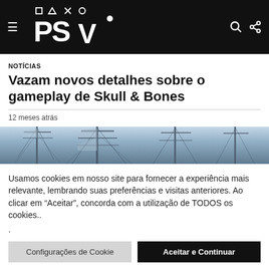PSV logo header with hamburger menu, search and share icons
NOTÍCIAS
Vazam novos detalhes sobre o gameplay de Skull & Bones
12 meses atrás
[Figure (photo): Ship masts and rigging against a light sky — screenshot from Skull & Bones game]
Usamos cookies em nosso site para fornecer a experiência mais relevante, lembrando suas preferências e visitas anteriores. Ao clicar em "Aceitar", concorda com a utilização de TODOS os cookies..
.
Configurações de Cookie   Aceitar e Continuar